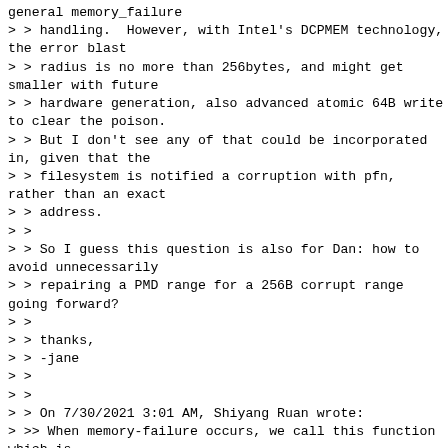general memory_failure
> > handling.  However, with Intel's DCPMEM technology, the error blast
> > radius is no more than 256bytes, and might get smaller with future
> > hardware generation, also advanced atomic 64B write to clear the poison.
> > But I don't see any of that could be incorporated in, given that the
> > filesystem is notified a corruption with pfn, rather than an exact
> > address.
> >
> > So I guess this question is also for Dan: how to avoid unnecessarily
> > repairing a PMD range for a 256B corrupt range going forward?
> >
> > thanks,
> > -jane
> >
> >
> > On 7/30/2021 3:01 AM, Shiyang Ruan wrote:
> >> When memory-failure occurs, we call this function which is
> >> implemented by each kind of devices.  For the fsdax case, pmem device
> >> driver implements it.  Pmem device driver will find out the
> >> filesystem in which the corrupted page located